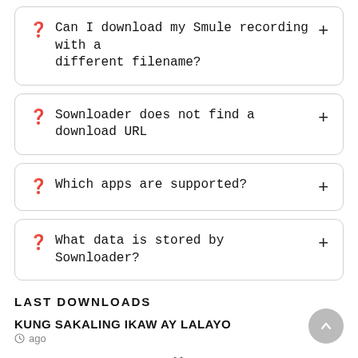Can I download my Smule recording with a different filename?
Sownloader does not find a download URL
Which apps are supported?
What data is stored by Sownloader?
LAST DOWNLOADS
KUNG SAKALING IKAW AY LALAYO
ago
Manasugala Savi Milana – ᱮᱨᱤᱭᱟ ᱥᱟᱝᱜᱤᱛ
4s ago